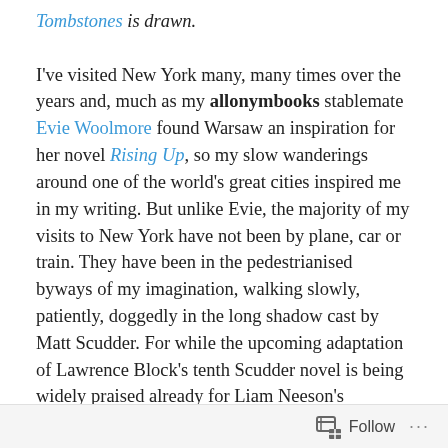Tombstones is drawn.

I've visited New York many, many times over the years and, much as my allonymbooks stablemate Evie Woolmore found Warsaw an inspiration for her novel Rising Up, so my slow wanderings around one of the world's great cities inspired me in my writing. But unlike Evie, the majority of my visits to New York have not been by plane, car or train. They have been in the pedestrianised byways of my imagination, walking slowly, patiently, doggedly in the long shadow cast by Matt Scudder. For while the upcoming adaptation of Lawrence Block's tenth Scudder novel is being widely praised already for Liam Neeson's portrayal of Block's complex ex-cop, for me the Scudder books feature another powerful and dominating character: New York City.
Follow